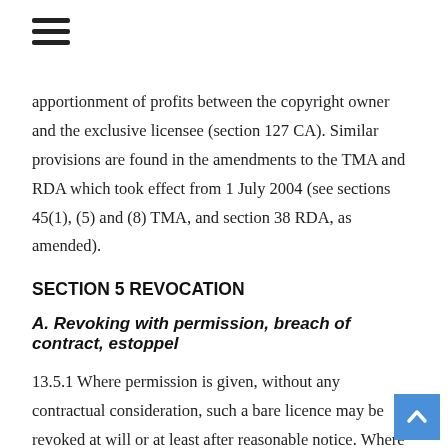☰
apportionment of profits between the copyright owner and the exclusive licensee (section 127 CA). Similar provisions are found in the amendments to the TMA and RDA which took effect from 1 July 2004 (see sections 45(1), (5) and (8) TMA, and section 38 RDA, as amended).
SECTION 5 REVOCATION
A. Revoking with permission, breach of contract, estoppel
13.5.1 Where permission is given, without any contractual consideration, such a bare licence may be revoked at will or at least after reasonable notice. Where the licence is contractual, its revocability must be in accordance with the contractual terms. If there is no express or implied right of revocation, then revocation is in breach of contract. The common law remedy for wrongful revocation is damages for